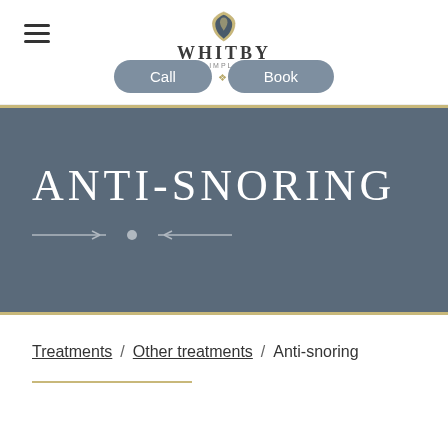Whitby Dental & Implant Clinic — Navigation with Call and Book buttons
Anti-snoring
Treatments / Other treatments / Anti-snoring